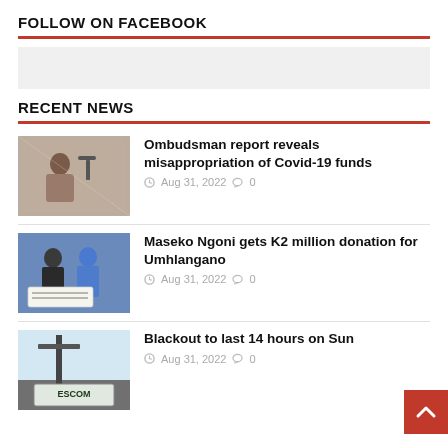FOLLOW ON FACEBOOK
[Figure (other): Facebook widget placeholder grey box]
RECENT NEWS
[Figure (photo): Person at a desk with a microphone, press conference setting]
Ombudsman report reveals misappropriation of Covid-19 funds
Aug 31, 2022  0
[Figure (photo): Two men holding a large cheque, donation ceremony]
Maseko Ngoni gets K2 million donation for Umhlangano
Aug 31, 2022  0
[Figure (photo): ESCOM sign/electricity pole outdoors]
Blackout to last 14 hours on Sun
Aug 31, 2022  0